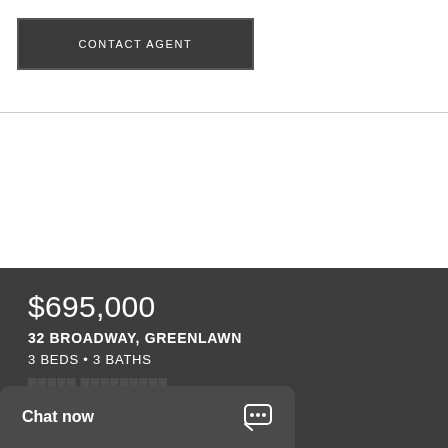CONTACT AGENT
$695,000
32 BROADWAY, GREENLAWN
3 BEDS • 3 BATHS
Chat now